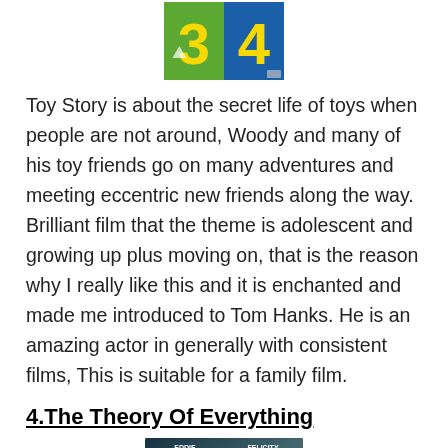[Figure (photo): Toy Story 3 and 4 DVD/movie cover image showing the numbers 3 and 4 in yellow and green on a blue/green background]
Toy Story is about the secret life of toys when people are not around, Woody and many of his toy friends go on many adventures and meeting eccentric new friends along the way. Brilliant film that the theme is adolescent and growing up plus moving on, that is the reason why I really like this and it is enchanted and made me introduced to Tom Hanks. He is an amazing actor in generally with consistent films, This is suitable for a family film.
4.The Theory Of Everything
[Figure (photo): The Theory of Everything movie poster featuring Eddie Redmayne and Felicity Jones, with the film title at the bottom]